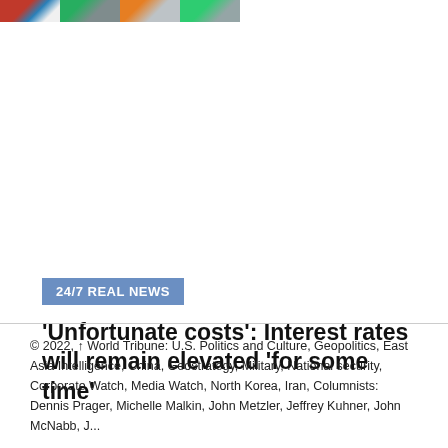[Figure (photo): Strip of small news thumbnail photos at top of page showing flags and outdoor scenes]
24/7 REAL NEWS
'Unfortunate costs': Interest rates will remain elevated 'for some time'
© 2022, ↑ World Tribune: U.S. Politics and Culture, Geopolitics, East Asia Intelligence, China, Geostrategy, Military, National security, Corporate Watch, Media Watch, North Korea, Iran, Columnists: Dennis Prager, Michelle Malkin, John Metzler, Jeffrey Kuhner, John McNabb, J...